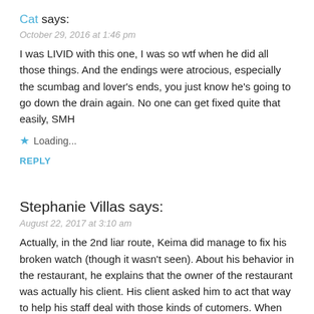Cat says:
October 29, 2016 at 1:46 pm
I was LIVID with this one, I was so wtf when he did all those things. And the endings were atrocious, especially the scumbag and lover's ends, you just know he's going to go down the drain again. No one can get fixed quite that easily, SMH
Loading...
REPLY
Stephanie Villas says:
August 22, 2017 at 3:10 am
Actually, in the 2nd liar route, Keima did manage to fix his broken watch (though it wasn't seen). About his behavior in the restaurant, he explains that the owner of the restaurant was actually his client. His client asked him to act that way to help his staff deal with those kinds of cutomers. When he went to the kitchen, the staff just